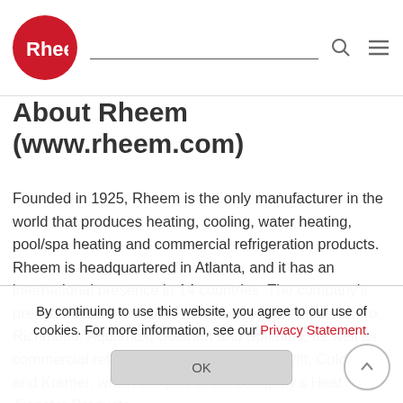Rheem logo, search bar, menu icon
About Rheem (www.rheem.com)
Founded in 1925, Rheem is the only manufacturer in the world that produces heating, cooling, water heating, pool/spa heating and commercial refrigeration products. Rheem is headquartered in Atlanta, and it has an international presence in 14 countries. The company's premium brands include Rheem, Raypak, Ruud, Eemax, Richmond, Aquamax, Solahart and Splendid, as well as commercial refrigeration brands Russell, Witt, ColdZone and Kramer, which are part of the company's Heat Transfer Products
By continuing to use this website, you agree to our use of cookies. For more information, see our Privacy Statement.
OK